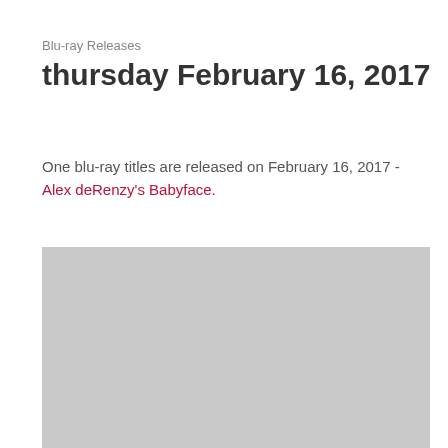Blu-ray Releases
thursday February 16, 2017
One blu-ray titles are released on February 16, 2017 - Alex deRenzy's Babyface.
[Figure (photo): Gray placeholder image block for a blu-ray cover or related image]